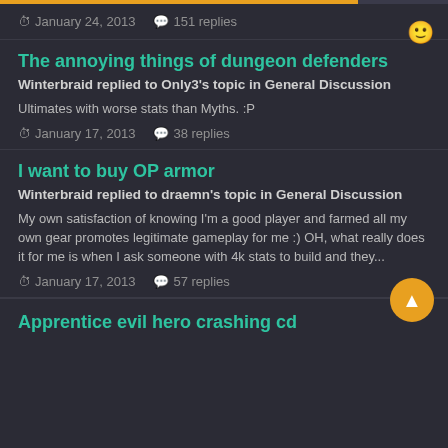January 24, 2013  151 replies
The annoying things of dungeon defenders
Winterbraid replied to Only3's topic in General Discussion
Ultimates with worse stats than Myths. :P
January 17, 2013  38 replies
I want to buy OP armor
Winterbraid replied to draemn's topic in General Discussion
My own satisfaction of knowing I'm a good player and farmed all my own gear promotes legitimate gameplay for me :) OH, what really does it for me is when I ask someone with 4k stats to build and they...
January 17, 2013  57 replies
Apprentice evil hero crashing cd